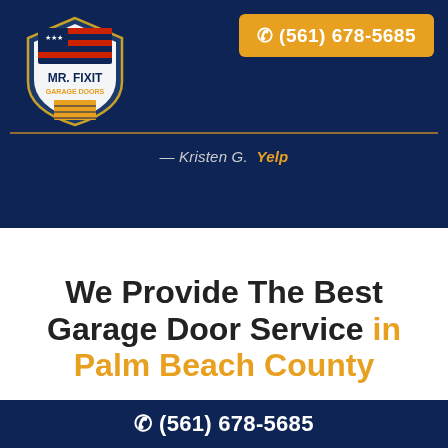[Figure (logo): Mr. Fix It Garage Doors shield logo with American flag and garage door graphic]
(561) 678-5685
— Kristen G.  Yelp
We Provide The Best Garage Door Service in Palm Beach County
(561) 678-5685